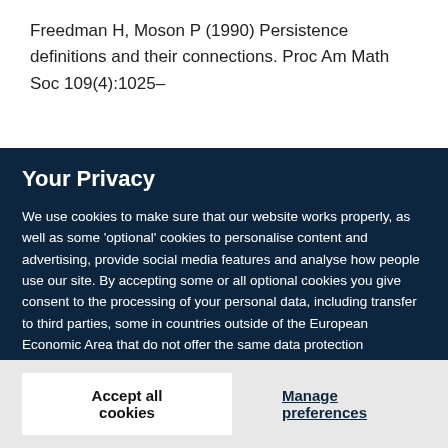Freedman H, Moson P (1990) Persistence definitions and their connections. Proc Am Math Soc 109(4):1025–
Your Privacy
We use cookies to make sure that our website works properly, as well as some 'optional' cookies to personalise content and advertising, provide social media features and analyse how people use our site. By accepting some or all optional cookies you give consent to the processing of your personal data, including transfer to third parties, some in countries outside of the European Economic Area that do not offer the same data protection standards as the country where you live. You can decide which optional cookies to accept by clicking on 'Manage Settings', where you can also find more information about how your personal data is processed. Further information can be found in our privacy policy.
Accept all cookies
Manage preferences